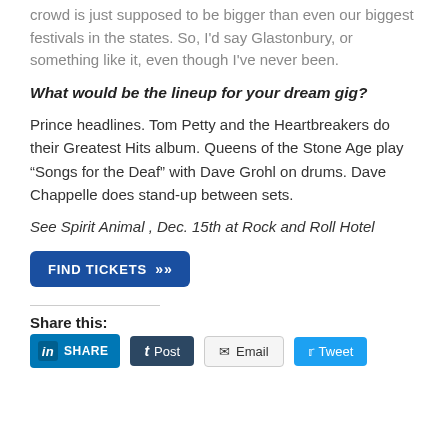crowd is just supposed to be bigger than even our biggest festivals in the states. So, I'd say Glastonbury, or something like it, even though I've never been.
What would be the lineup for your dream gig?
Prince headlines. Tom Petty and the Heartbreakers do their Greatest Hits album. Queens of the Stone Age play “Songs for the Deaf” with Dave Grohl on drums. Dave Chappelle does stand-up between sets.
See Spirit Animal , Dec. 15th at Rock and Roll Hotel
[Figure (other): FIND TICKETS button with double chevron arrows]
Share this:
[Figure (other): Social share buttons: LinkedIn SHARE, Tumblr Post, Email, Twitter Tweet]